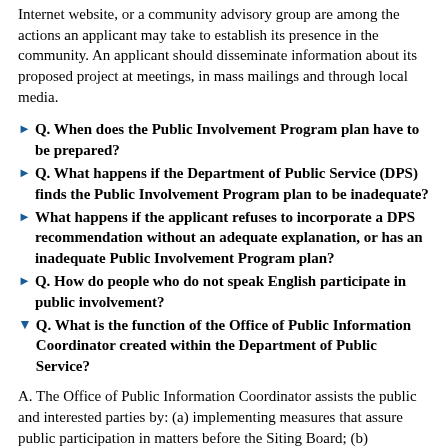Internet website, or a community advisory group are among the actions an applicant may take to establish its presence in the community. An applicant should disseminate information about its proposed project at meetings, in mass mailings and through local media.
Q. When does the Public Involvement Program plan have to be prepared?
Q. What happens if the Department of Public Service (DPS) finds the Public Involvement Program plan to be inadequate?
What happens if the applicant refuses to incorporate a DPS recommendation without an adequate explanation, or has an inadequate Public Involvement Program plan?
Q. How do people who do not speak English participate in public involvement?
Q. What is the function of the Office of Public Information Coordinator created within the Department of Public Service?
A. The Office of Public Information Coordinator assists the public and interested parties by: (a) implementing measures that assure public participation in matters before the Siting Board; (b) responding to inquiries from the public for information on how to participate; (c) assisting the public in requesting records; (d) ensuring all interested persons are provided with a reasonable opportunity to participate at public meetings; (e) ensuring that all